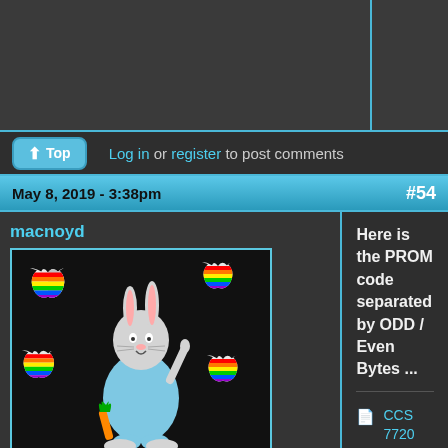[Figure (screenshot): Dark forum banner area at top, two columns separated by cyan border]
Top  Log in or register to post comments
May 8, 2019 - 3:38pm  #54
macnoyd
[Figure (illustration): Forum avatar showing Bugs Bunny cartoon with Apple logos on black background]
Online
Last seen: 1 hour 9 min ago
Joined: Oct 15 2012 - 08:59
Posts: 764
Here is the PROM code separated by ODD / Even Bytes ...
CCS 7720 PROM Code Content Odd.txt
CCS 7720 PROM Code Content Even.txt
Maybe this will help identify each PROM ... a little ...  :-D